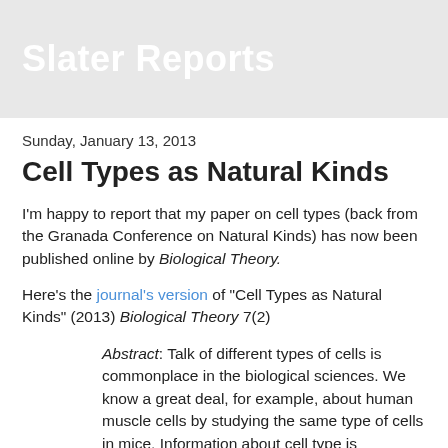Slater Reports
Sunday, January 13, 2013
Cell Types as Natural Kinds
I'm happy to report that my paper on cell types (back from the Granada Conference on Natural Kinds) has now been published online by Biological Theory.
Here's the journal's version of "Cell Types as Natural Kinds" (2013) Biological Theory 7(2)
Abstract: Talk of different types of cells is commonplace in the biological sciences. We know a great deal, for example, about human muscle cells by studying the same type of cells in mice. Information about cell type is apparently